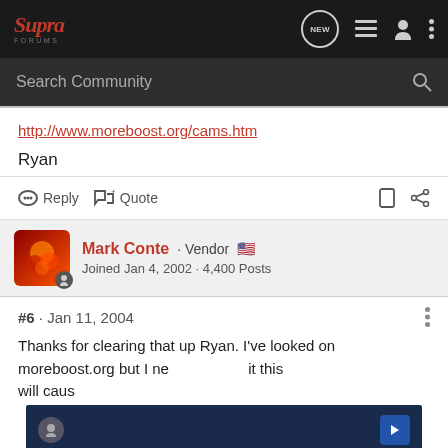Supra Forums
http://www.moreboost.org/cams.htm
Ryan
Reply   Quote
Mark Conte · Vendor  Joined Jan 4, 2002 · 4,400 Posts
#6 · Jan 11, 2004
Thanks for clearing that up Ryan. I've looked on moreboost.org but I ne... it this will caus...